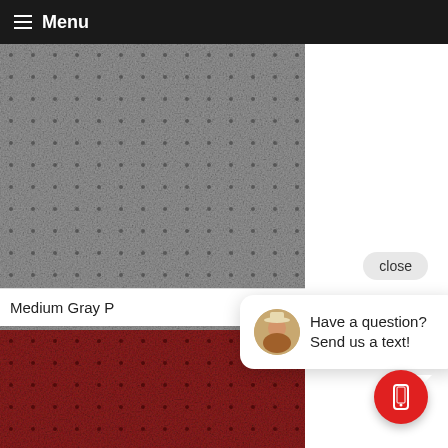Menu
[Figure (photo): Close-up of medium gray perforated leather texture with regularly spaced small dot perforations]
Medium Gray P
[Figure (photo): Close-up of dark red/maroon perforated leather texture with regularly spaced small dot perforations]
close
Have a question? Send us a text!